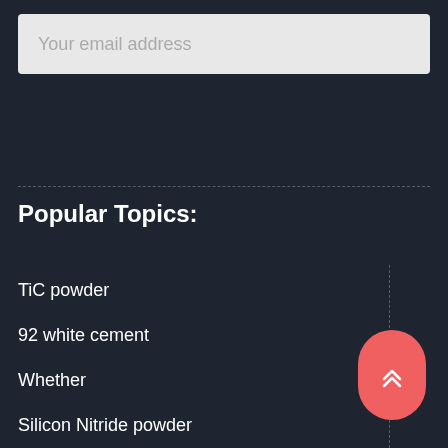Your email address
Popular Topics:
TiC powder
92 white cement
Whether
Silicon Nitride powder
lithium battery